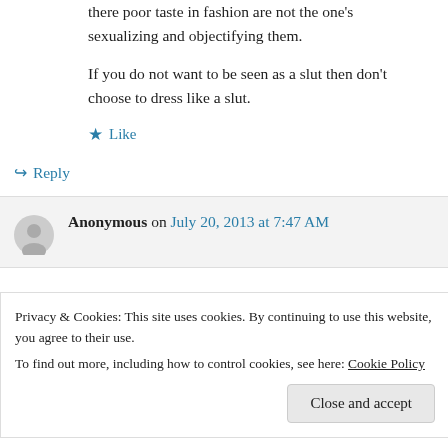there poor taste in fashion are not the one's sexualizing and objectifying them.
If you do not want to be seen as a slut then don't choose to dress like a slut.
★ Like
↪ Reply
Anonymous on July 20, 2013 at 7:47 AM
Privacy & Cookies: This site uses cookies. By continuing to use this website, you agree to their use. To find out more, including how to control cookies, see here: Cookie Policy
Close and accept